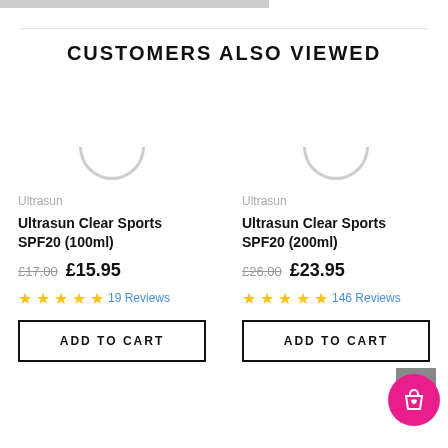CUSTOMERS ALSO VIEWED
Ultrasun
Ultrasun Clear Sports SPF20 (100ml)
£17.00  £15.95
★★★★★ 19 Reviews
ADD TO CART
Ultrasun
Ultrasun Clear Sports SPF20 (200ml)
£26.00  £23.95
★★★★★ 146 Reviews
ADD TO CART